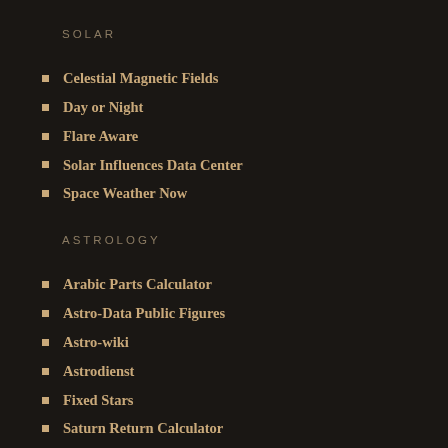SOLAR
Celestial Magnetic Fields
Day or Night
Flare Aware
Solar Influences Data Center
Space Weather Now
ASTROLOGY
Arabic Parts Calculator
Astro-Data Public Figures
Astro-wiki
Astrodienst
Fixed Stars
Saturn Return Calculator
ASTRONOMY
All Sky
HubbleSite